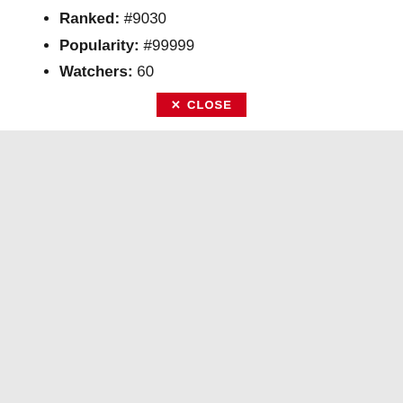Ranked: #9030
Popularity: #99999
Watchers: 60
[Figure (other): Red CLOSE button with X icon]